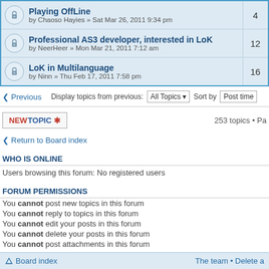| Topic | Replies |
| --- | --- |
| Playing OffLine
by Chaoso Hayies » Sat Mar 26, 2011 9:34 pm | 4 |
| Professional AS3 developer, interested in LoK
by NeerHeer » Mon Mar 21, 2011 7:12 am | 12 |
| LoK in Multilanguage
by Ninn » Thu Feb 17, 2011 7:58 pm | 16 |
< Previous   Display topics from previous: All Topics ▾  Sort by  Post time
NEWTOPIC ✱   253 topics • Pa
< Return to Board index
WHO IS ONLINE
Users browsing this forum: No registered users
FORUM PERMISSIONS
You cannot post new topics in this forum
You cannot reply to topics in this forum
You cannot edit your posts in this forum
You cannot delete your posts in this forum
You cannot post attachments in this forum
Board index   The team • Delete a